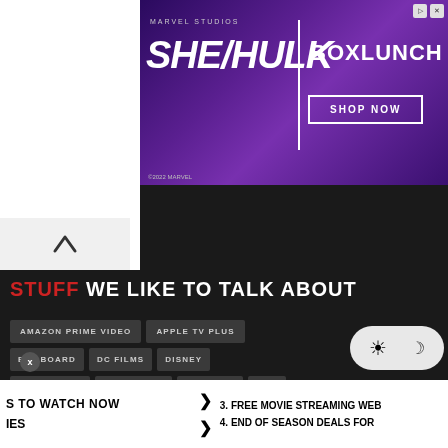[Figure (screenshot): Marvel Studios She-Hulk advertisement for BoxLunch with Shop Now button]
STUFF WE LIKE TO TALK ABOUT
AMAZON PRIME VIDEO
APPLE TV PLUS
BILLBOARD
DC FILMS
DISNEY
DISNEY PLUS
EXCLUSIVES
FEATURES
FILM
FILM NEWS
FILM REVIEWS
GAMING
GAMING NEWS
HBO MAX
JAMES BOND
MARVEL STUDIOS
NETFLIX
NEWS
S TO WATCH NOW
IES
3. FREE MOVIE STREAMING WEB
4. END OF SEASON DEALS FOR